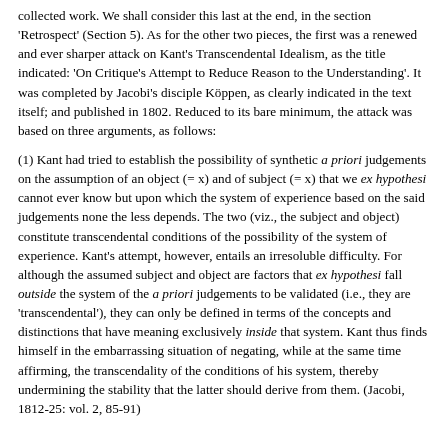collected work. We shall consider this last at the end, in the section 'Retrospect' (Section 5). As for the other two pieces, the first was a renewed and ever sharper attack on Kant's Transcendental Idealism, as the title indicated: 'On Critique's Attempt to Reduce Reason to the Understanding'. It was completed by Jacobi's disciple Köppen, as clearly indicated in the text itself; and published in 1802. Reduced to its bare minimum, the attack was based on three arguments, as follows:
(1) Kant had tried to establish the possibility of synthetic a priori judgements on the assumption of an object (= x) and of subject (= x) that we ex hypothesi cannot ever know but upon which the system of experience based on the said judgements none the less depends. The two (viz., the subject and object) constitute transcendental conditions of the possibility of the system of experience. Kant's attempt, however, entails an irresoluble difficulty. For although the assumed subject and object are factors that ex hypothesi fall outside the system of the a priori judgements to be validated (i.e., they are 'transcendental'), they can only be defined in terms of the concepts and distinctions that have meaning exclusively inside that system. Kant thus finds himself in the embarrassing situation of negating, while at the same time affirming, the transcendality of the conditions of his system, thereby undermining the stability that the latter should derive from them. (Jacobi, 1812-25: vol. 2, 85-91)